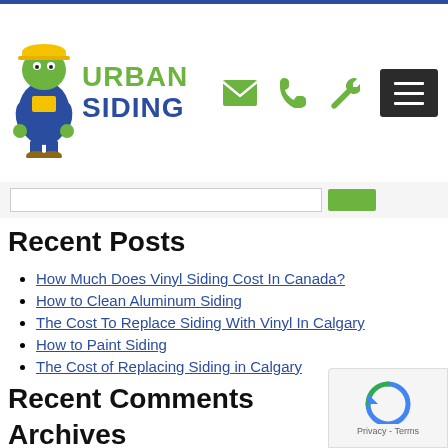[Figure (logo): Urban Siding logo with green mascot character and text URBAN SIDING]
Navigation icons: email, phone, wrench, menu button
Recent Posts
How Much Does Vinyl Siding Cost In Canada?
How to Clean Aluminum Siding
The Cost To Replace Siding With Vinyl In Calgary
How to Paint Siding
The Cost of Replacing Siding in Calgary
Recent Comments
Archives